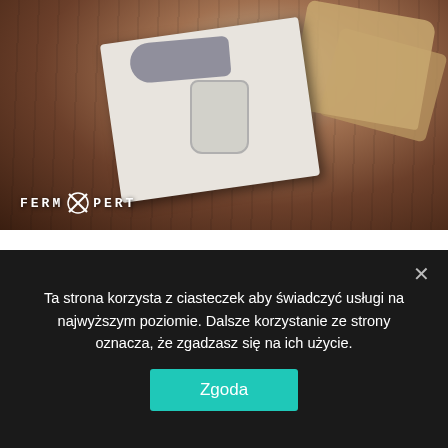[Figure (photo): Overhead photo of pickled herring fillets on a white plate with a jar and bread on a dark wooden table. FermXpert logo visible in lower-left.]
Vinegar Pickled Herring Fillets
2022.03.10 | Pickled foods
Regardless if it's Christmas, Easter or a simple family reunion, marinated herring can pretty much always be found on a Polish table. In my family,...
Ta strona korzysta z ciasteczek aby świadczyć usługi na najwyższym poziomie. Dalsze korzystanie ze strony oznacza, że zgadzasz się na ich użycie.